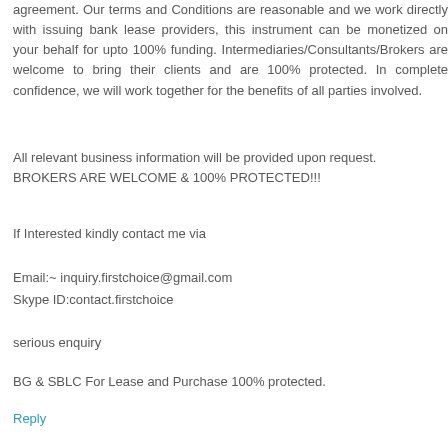agreement. Our terms and Conditions are reasonable and we work directly with issuing bank lease providers, this instrument can be monetized on your behalf for upto 100% funding. Intermediaries/Consultants/Brokers are welcome to bring their clients and are 100% protected. In complete confidence, we will work together for the benefits of all parties involved.
All relevant business information will be provided upon request.
BROKERS ARE WELCOME & 100% PROTECTED!!!
If Interested kindly contact me via
Email:~ inquiry.firstchoice@gmail.com
Skype ID:contact.firstchoice
serious enquiry
BG & SBLC For Lease and Purchase 100% protected.
Reply